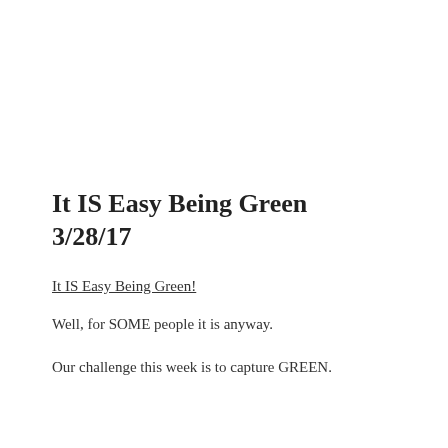It IS Easy Being Green 3/28/17
It IS Easy Being Green!
Well, for SOME people it is anyway.
Our challenge this week is to capture GREEN.